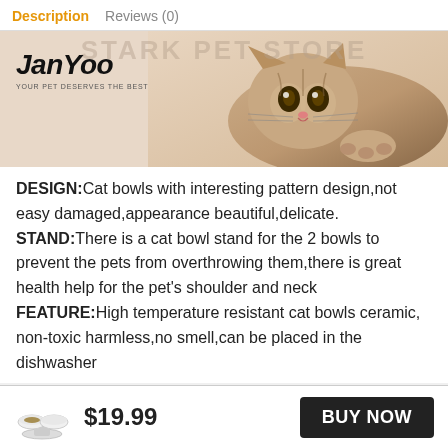Description   Reviews (0)
[Figure (photo): JanYoo brand banner with a tabby cat lying down, logo text 'JanYoo' and tagline 'YOUR PET DESERVES THE BEST']
DESIGN:Cat bowls with interesting pattern design,not easy damaged,appearance beautiful,delicate. STAND:There is a cat bowl stand for the 2 bowls to prevent the pets from overthrowing them,there is great health help for the pet's shoulder and neck FEATURE:High temperature resistant cat bowls ceramic, non-toxic harmless,no smell,can be placed in the dishwasher
$19.99  BUY NOW